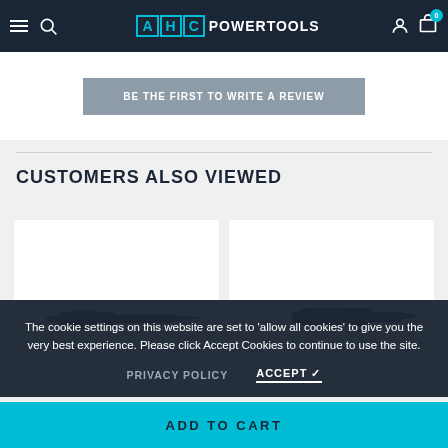AHC POWERTOOLS
BE THE FIRST TO WRITE A REVIEW
CUSTOMERS ALSO VIEWED
[Figure (photo): Two product cards showing power tool accessories on white backgrounds]
The cookie settings on this website are set to 'allow all cookies' to give you the very best experience. Please click Accept Cookies to continue to use the site.
PRIVACY POLICY    ACCEPT ✓
ADD TO CART